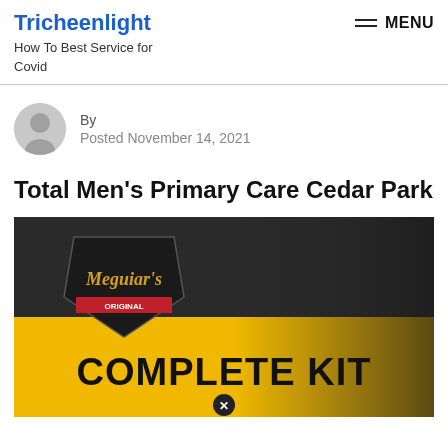Tricheenlight
How To Best Service for Covid
By
Posted November 14, 2021
Total Men's Primary Care Cedar Park
[Figure (photo): Meguiar's Complete Kit product advertisement image with dark background and yellow lower half showing the text COMPLETE KIT. A close button (X) is visible at the bottom center.]